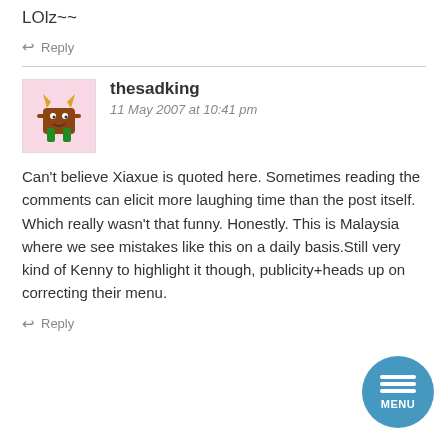LOlz~~
↩ Reply
thesadking
11 May 2007 at 10:41 pm
Can't believe Xiaxue is quoted here. Sometimes reading the comments can elicit more laughing time than the post itself. Which really wasn't that funny. Honestly. This is Malaysia where we see mistakes like this on a daily basis.Still very kind of Kenny to highlight it though, publicity+heads up on correcting their menu.
↩ Reply